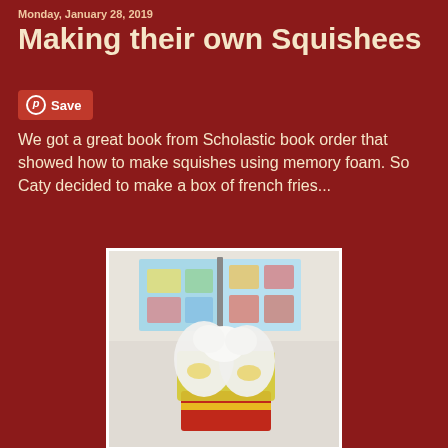Monday, January 28, 2019
Making their own Squishees
Save
We got a great book from Scholastic book order that showed how to make squishes using memory foam.  So Caty decided to make a box of french fries...
[Figure (photo): A photo showing an open instruction book with colorful diagrams in the background, and in the foreground a handmade squishy toy shaped like a box of french fries made from memory foam, with white and yellow foam pieces on top of a red box base, placed on a white table surface.]